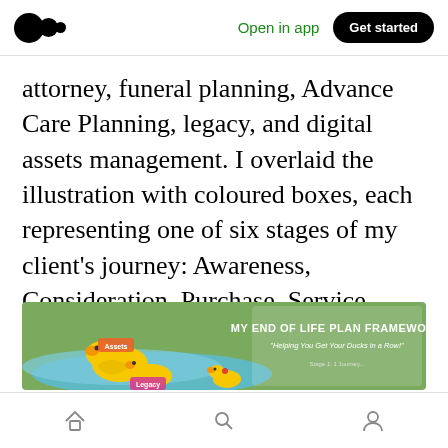Open in app | Get started
attorney, funeral planning, Advance Care Planning, legacy, and digital assets management. I overlaid the illustration with coloured boxes, each representing one of six stages of my client's journey: Awareness, Consideration, Purchase, Service, Loyalty, and Advocacy. And attached to each box, I listed the actions or practices I took to attract, engage, and assist the client (see illustration).
[Figure (illustration): MY END OF LIFE PLAN FRAMEWORK banner with rubber ducks on a green and blue background. Subtitle: Helping You Get Your Ducks in a Row!]
Home | Search | Profile